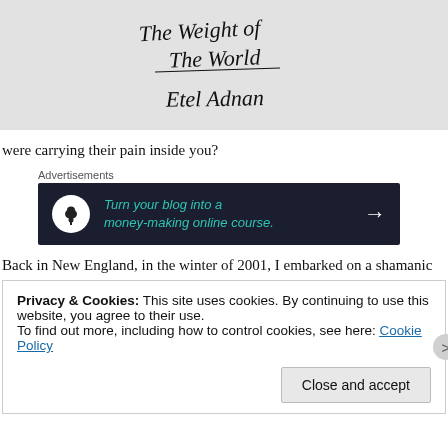[Figure (illustration): Handwritten text on light gray background reading 'The Weight of The World' and 'Etel Adnan']
were carrying their pain inside you?
Advertisements
[Figure (other): Dark navy advertisement banner: 'Turn your blog into a money-making online course.' with arrow and tree/bonsai icon]
Back in New England, in the winter of 2001, I embarked on a shamanic
Privacy & Cookies: This site uses cookies. By continuing to use this website, you agree to their use.
To find out more, including how to control cookies, see here: Cookie Policy
Close and accept